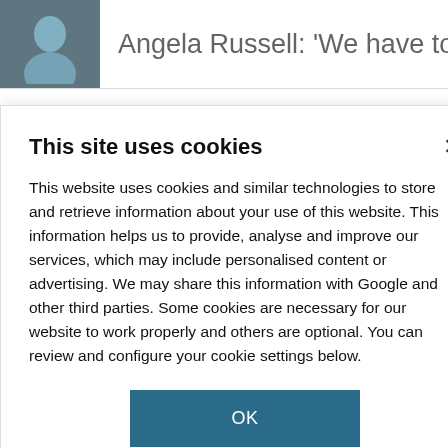[Figure (screenshot): Background website page showing article thumbnails with headlines: 'Angela Russell: We have to not be', an article about 'their country', an article about 'zyme tackles', and an article about 'hes electron in'. A portrait photo thumbnail is visible in the top left.]
This site uses cookies
This website uses cookies and similar technologies to store and retrieve information about your use of this website. This information helps us to provide, analyse and improve our services, which may include personalised content or advertising. We may share this information with Google and other third parties. Some cookies are necessary for our website to work properly and others are optional. You can review and configure your cookie settings below.
OK
COOKIE SETTINGS